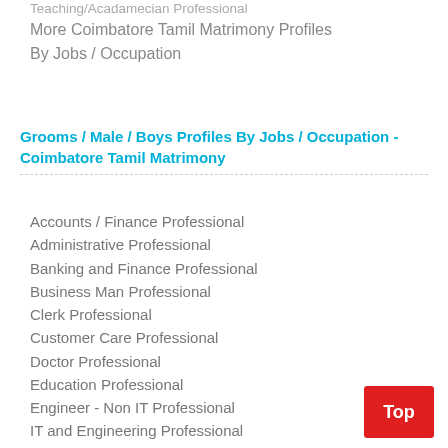Teaching/Acadamecian Professional
More Coimbatore Tamil Matrimony Profiles By Jobs / Occupation
Grooms / Male / Boys Profiles By Jobs / Occupation - Coimbatore Tamil Matrimony
Accounts / Finance Professional
Administrative Professional
Banking and Finance Professional
Business Man Professional
Clerk Professional
Customer Care Professional
Doctor Professional
Education Professional
Engineer - Non IT Professional
IT and Engineering Professional
Lawyer and Legal Professional
Manager Professional
Marketing and Sales Professional
Nurse Professional
Officer Professional
Professor / Lecturer Professional